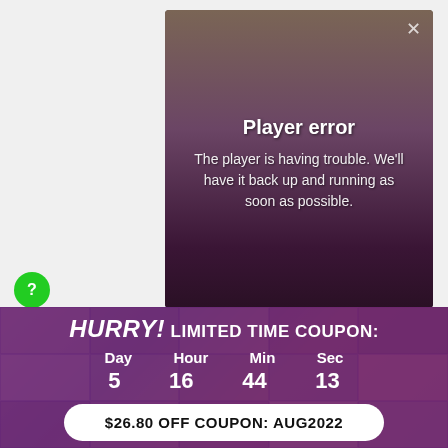[Figure (screenshot): Video player error overlay with dark brownish-purple background showing a partially visible person in a cap. White text reads 'Player error' and 'The player is having trouble. We'll have it back up and running as soon as possible.' A close X button is in the top right.]
Player error
The player is having trouble. We'll have it back up and running as soon as possible.
[Figure (infographic): Purple banner with mosaic of face photos in background. Shows 'HURRY! Limited Time Coupon:' headline, countdown timer (Day 5, Hour 16, Min 44, Sec 13), and white pill button '$26.80 OFF COUPON: AUG2022']
HURRY! Limited Time Coupon:
Day 5  Hour 16  Min 44  Sec 13
$26.80 OFF COUPON: AUG2022